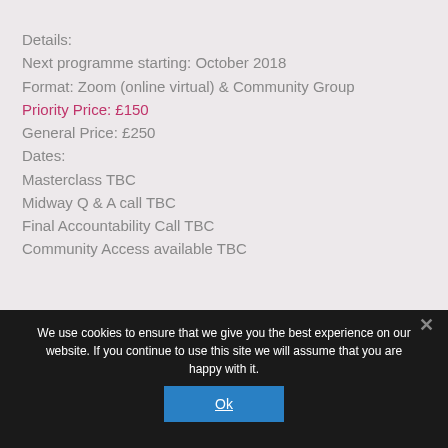Details:
Next programme starting: October 2018
Format: Zoom (online virtual) & Community Group
Priority Price: £150
General Price: £250
Dates:
Masterclass TBC
Midway Q & A call TBC
Final Accountability Call TBC
Community Access available TBC
We use cookies to ensure that we give you the best experience on our website. If you continue to use this site we will assume that you are happy with it.
Ok